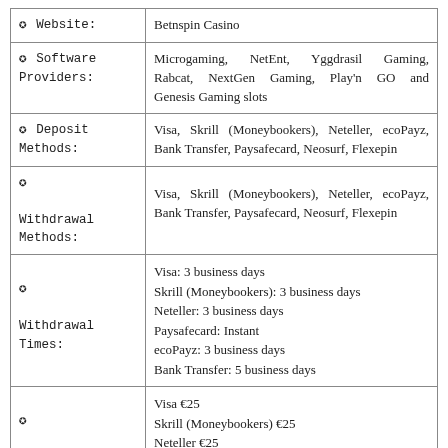| ✪ Website: | Betnspin Casino |
| ✪ Software Providers: | Microgaming, NetEnt, Yggdrasil Gaming, Rabcat, NextGen Gaming, Play'n GO and Genesis Gaming slots |
| ✪ Deposit Methods: | Visa, Skrill (Moneybookers), Neteller, ecoPayz, Bank Transfer, Paysafecard, Neosurf, Flexepin |
| ✪ Withdrawal Methods: | Visa, Skrill (Moneybookers), Neteller, ecoPayz, Bank Transfer, Paysafecard, Neosurf, Flexepin |
| ✪ Withdrawal Times: | Visa: 3 business days
Skrill (Moneybookers): 3 business days
Neteller: 3 business days
Paysafecard: Instant
ecoPayz: 3 business days
Bank Transfer: 5 business days |
| ✪ | Visa €25
Skrill (Moneybookers) €25
Neteller €25 |